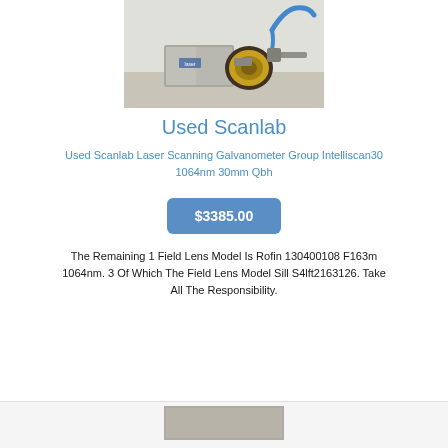[Figure (photo): Photo of a Scanlab laser scanning galvanometer unit with metallic housing and blue cable]
Used Scanlab
Used Scanlab Laser Scanning Galvanometer Group Intelliscan30 1064nm 30mm Qbh
$3385.00
The Remaining 1 Field Lens Model Is Rofin 130400108 F163m 1064nm. 3 Of Which The Field Lens Model Sill S4lft2163126. Take All The Responsibility.
[Figure (photo): Partial view of another product photo at the bottom of the page]